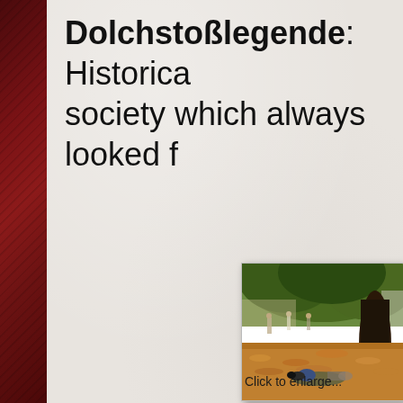Dolchstoßlegende: Historica… society which always looked f…
[Figure (photo): Person lying on ground among autumn leaves photographing a large tree in a park, with other people walking in the background]
Click to enlarge...